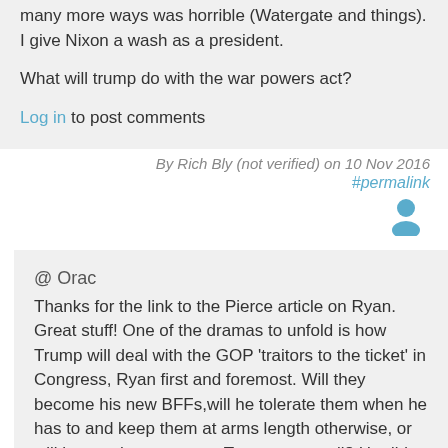many more ways was horrible (Watergate and things). I give Nixon a wash as a president.
What will trump do with the war powers act?
Log in to post comments
By Rich Bly (not verified) on 10 Nov 2016
#permalink
[Figure (illustration): User avatar icon - blue silhouette of a person]
@ Orac
Thanks for the link to the Pierce article on Ryan. Great stuff! One of the dramas to unfold is how Trump will deal with the GOP 'traitors to the ticket' in Congress, Ryan first and foremost. Will they become his new BFFs,will he tolerate them when he has to and keep them at arms length otherwise, or will he run them out on a Tweet-storm rail? He did promise to adopt Ryan's budget, but he's been talking infrastructure projects first and foremost, and the two don't